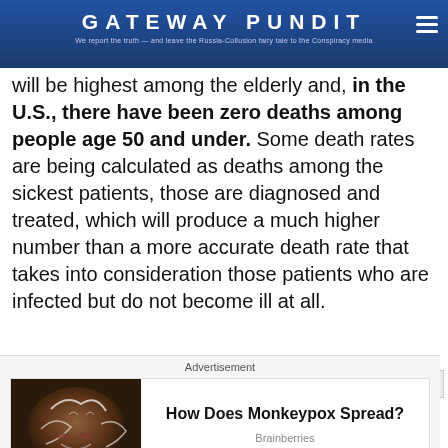GATEWAY PUNDIT — We report the truth — and leave the Russia-Collusion fairy tale to the Conspiracy media
will be highest among the elderly and, in the U.S., there have been zero deaths among people age 50 and under. Some death rates are being calculated as deaths among the sickest patients, those are diagnosed and treated, which will produce a much higher number than a more accurate death rate that takes into consideration those patients who are infected but do not become ill at all.
Advertisement
[Figure (photo): Advertisement image showing a stylized face with white decorative patterns]
How Does Monkeypox Spread?
Brainberries